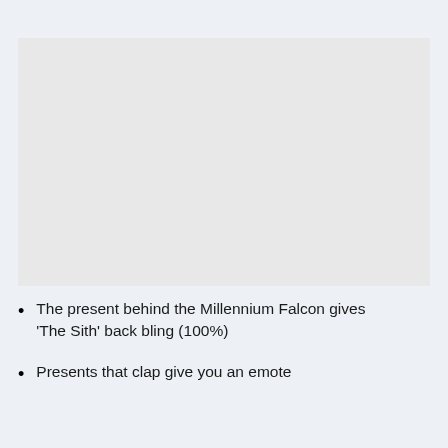[Figure (other): A blank light gray rectangular image placeholder area]
The present behind the Millennium Falcon gives ‘The Sith’ back bling (100%)
Presents that clap give you an emote